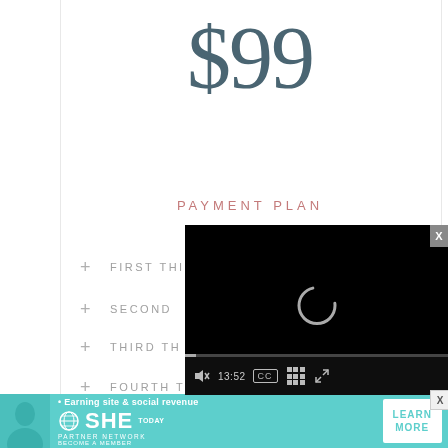$99
PAYMENT PLAN
+ FIRST THING INCLUDED
+ SECOND THING INCLUDED
+ THIRD THING INCLUDED
+ FOURTH THING INCLUDED
[Figure (screenshot): Video player overlay showing loading spinner and controls with timestamp 13:52]
[Figure (infographic): SHE Partner Network advertisement banner with teal background, avatar, logo, and Learn More button]